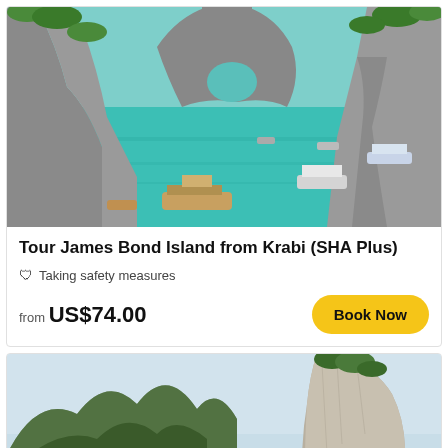[Figure (photo): Aerial view of James Bond Island / Phang Nga Bay with turquoise water, limestone karst formations, and tour boats]
Tour James Bond Island from Krabi (SHA Plus)
Taking safety measures
from US$74.00
Book Now
[Figure (photo): Tourists posing in front of a large limestone rock formation (James Bond Island / Ko Tapu), with jungle-covered mountains in the background]